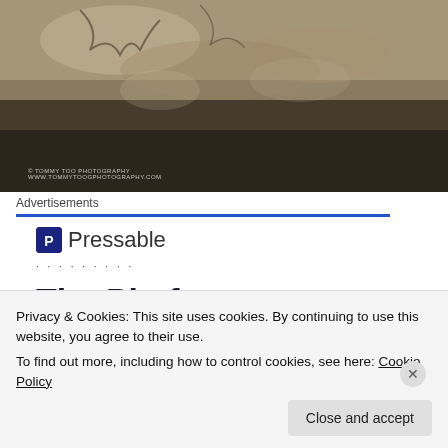[Figure (photo): Dark stone relief or sculpture photograph with muted sepia/dark tones. Watermark reads '© Tommy Too Photography www.tommytoogphotography.com']
Advertisements
[Figure (logo): Pressable logo: dark blue square icon with letter P followed by text 'Pressable']
· · · · · · · · ·
The Platform Where WordPress Works Best
Privacy & Cookies: This site uses cookies. By continuing to use this website, you agree to their use.
To find out more, including how to control cookies, see here: Cookie Policy